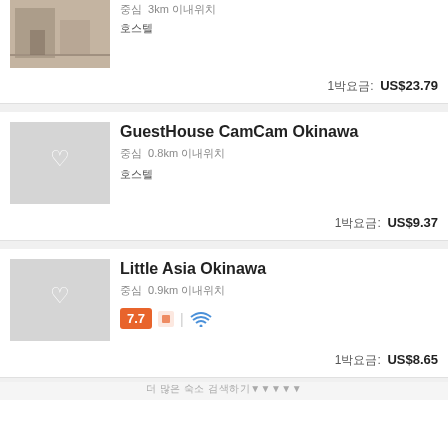[Figure (photo): Photo of a room interior with a person]
중심 3km 이내위치
호스텔
1박요금: US$23.79
GuestHouse CamCam Okinawa
중심 0.8km 이내위치
호스텔
1박요금: US$9.37
Little Asia Okinawa
중심 0.9km 이내위치
7.7
1박요금: US$8.65